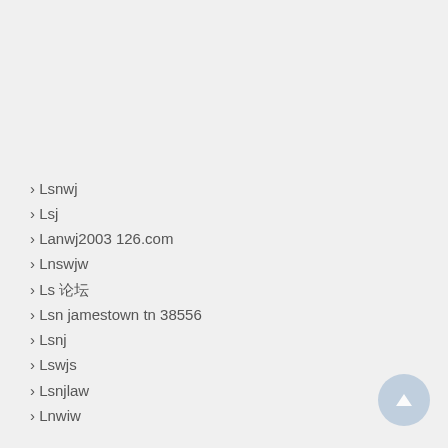› Lsnwj
› Lsj
› Lanwj2003 126.com
› Lnswjw
› Ls 论坛
› Lsn jamestown tn 38556
› Lsnj
› Lswjs
› Lsnjlaw
› Lnwiw